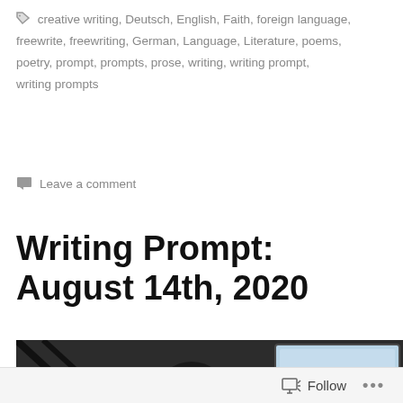creative writing, Deutsch, English, Faith, foreign language, freewrite, freewriting, German, Language, Literature, poems, poetry, prompt, prompts, prose, writing, writing prompt, writing prompts
Leave a comment
Writing Prompt: August 14th, 2020
[Figure (photo): A person sitting at a desk looking down, wearing glasses, with a monitor showing the text 'Entrymeme' visible on the right side. Dark background with window bars/railings visible on the left.]
Follow ...